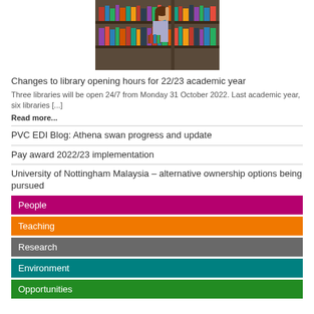[Figure (photo): Student reaching for books on a library shelf, holding a stack of books]
Changes to library opening hours for 22/23 academic year
Three libraries will be open 24/7 from Monday 31 October 2022. Last academic year, six libraries [...]
Read more...
PVC EDI Blog: Athena swan progress and update
Pay award 2022/23 implementation
University of Nottingham Malaysia – alternative ownership options being pursued
People
Teaching
Research
Environment
Opportunities